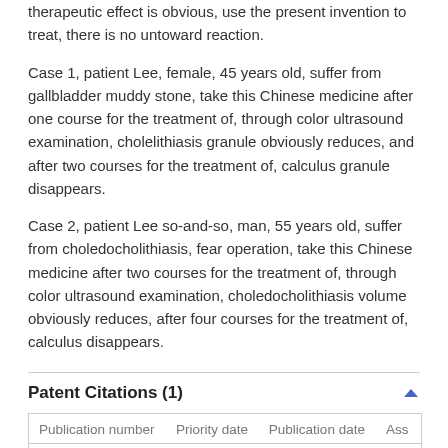therapeutic effect is obvious, use the present invention to treat, there is no untoward reaction.
Case 1, patient Lee, female, 45 years old, suffer from gallbladder muddy stone, take this Chinese medicine after one course for the treatment of, through color ultrasound examination, cholelithiasis granule obviously reduces, and after two courses for the treatment of, calculus granule disappears.
Case 2, patient Lee so-and-so, man, 55 years old, suffer from choledocholithiasis, fear operation, take this Chinese medicine after two courses for the treatment of, through color ultrasound examination, choledocholithiasis volume obviously reduces, after four courses for the treatment of, calculus disappears.
Patent Citations (1)
| Publication number | Priority date | Publication date | Ass |
| --- | --- | --- | --- |
| CN101112589A * | 2007-07-30 | 2008-01-30 | □□□ |